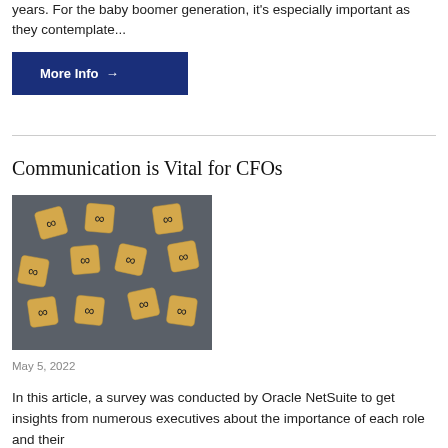years. For the baby boomer generation, it's especially important as they contemplate...
More Info →
Communication is Vital for CFOs
[Figure (photo): Multiple wooden letter dice with infinity/link symbols scattered on a dark grey background]
May 5, 2022
In this article, a survey was conducted by Oracle NetSuite to get insights from numerous executives about the importance of each role and their...